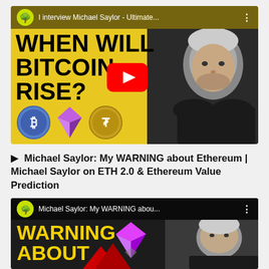[Figure (screenshot): YouTube video thumbnail: yellow background with bold black text 'WHEN WILL BITCOIN RISE?' with a man (Michael Saylor) on the right, crypto coin icons at bottom (Bitcoin, Ethereum, Tether), YouTube play button in center, channel icon top-left, title 'I interview Michael Saylor - Ultimate...' in top bar]
► Michael Saylor: My WARNING about Ethereum | Michael Saylor on ETH 2.0 & Ethereum Value Prediction
[Figure (screenshot): YouTube video thumbnail (partial): dark background with yellow bold text 'WARNING ABOUT' visible, large purple/pink Ethereum diamond logo in center, man (Michael Saylor) on right, channel icon and title 'Michael Saylor: My WARNING abou...' in top bar]